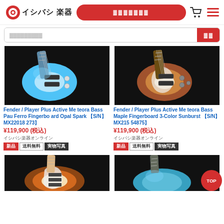イシバシ楽器
[Figure (screenshot): Blue bass guitar (Fender Player Plus Active Meteora Bass Pau Ferro Fingerboard Opal Spark) on dark background]
Fender / Player Plus Active Meteora Bass Pau Ferro Fingerboard Opal Spark 【S/N】MX22018273】
¥119,900 (税込)
イシバシ楽器オンライン
新品 送料無料 実物写真
[Figure (screenshot): Sunburst bass guitar (Fender Player Plus Active Meteora Bass Maple Fingerboard 3-Color Sunburst) on dark background]
Fender / Player Plus Active Meteora Bass Maple Fingerboard 3-Color Sunburst 【S/N】MX21554875】
¥119,900 (税込)
イシバシ楽器オンライン
新品 送料無料 実物写真
[Figure (screenshot): Sunburst Stratocaster guitar on dark background]
[Figure (screenshot): Blue guitar on dark background]